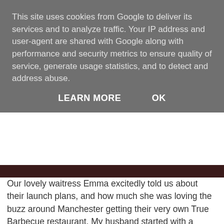This site uses cookies from Google to deliver its services and to analyze traffic. Your IP address and user-agent are shared with Google along with performance and security metrics to ensure quality of service, generate usage statistics, and to detect and address abuse.
LEARN MORE   OK
Our lovely waitress Emma excitedly told us about their launch plans, and how much she was loving the buzz around Manchester getting their very own True Barbecue restaurant. My husband started with a Revolutions Dark IPA and I opted for the more sensible choice of marshmallow heaven milkshake...
[Figure (photo): Photo of a milkshake in a white bottle and a beer in a glass on a restaurant table with dim lighting in the background.]